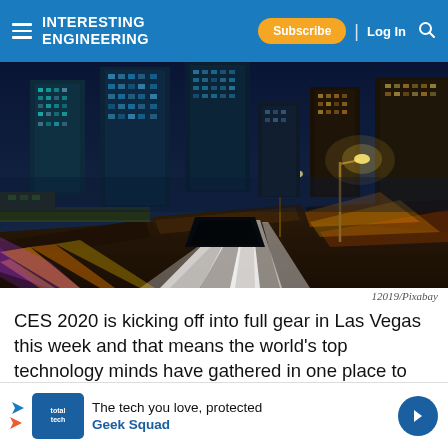Interesting Engineering — Subscribe | Log In
[Figure (photo): Night cityscape with long-exposure light trails from traffic on a highway, surrounded by illuminated skyscrapers. Urban infrastructure scene at night with blue and orange lighting.]
12019/Pixabay
CES 2020 is kicking off into full gear in Las Vegas this week and that means the world's top technology minds have gathered in one place to share their vision.
[Figure (other): Advertisement banner: The tech you love, protected — Geek Squad]